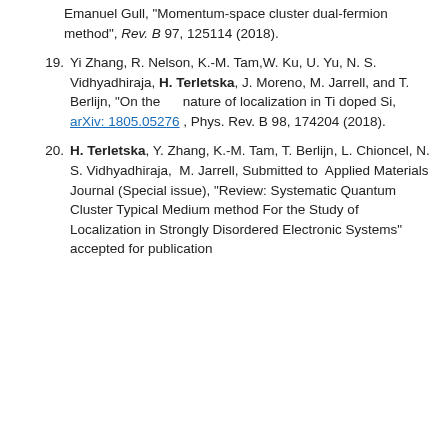Emanuel Gull, "Momentum-space cluster dual-fermion method", Rev. B 97, 125114 (2018).
19. Yi Zhang, R. Nelson, K.-M. Tam,W. Ku, U. Yu, N. S. Vidhyadhiraja, H. Terletska, J. Moreno, M. Jarrell, and T. Berlijn, "On the    nature of localization in Ti doped Si, arXiv: 1805.05276 , Phys. Rev. B 98, 174204 (2018).
20. H. Terletska, Y. Zhang, K.-M. Tam, T. Berlijn, L. Chioncel, N. S. Vidhyadhiraja,  M. Jarrell, Submitted to  Applied Materials Journal (Special issue), "Review: Systematic Quantum Cluster Typical Medium method For the Study of Localization in Strongly Disordered Electronic Systems" accepted for publication